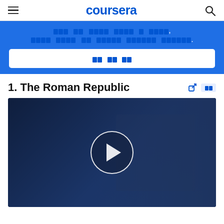coursera
[Promotional banner with Korean/encoded text] - 300 days of study with a certificate. Join now to start online learning.
[Button: Encoded text]
1. The Roman Republic
[Figure (screenshot): Video thumbnail showing professor/lecturer against dark blue background with white play button circle overlay. Coursera video player for 'The Roman Republic' lecture.]